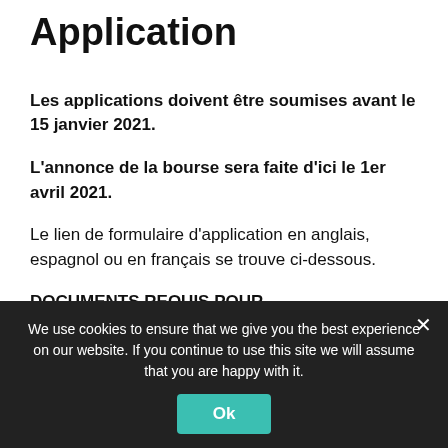Application
Les applications doivent être soumises avant le 15 janvier 2021.
L'annonce de la bourse sera faite d'ici le 1er avril 2021.
Le lien de formulaire d'application en anglais, espagnol ou en français se trouve ci-dessous.
DOCUMENTS REQUIS POUR L'APPLICATION A LA BOURSE SENESH:
We use cookies to ensure that we give you the best experience on our website. If you continue to use this site we will assume that you are happy with it.